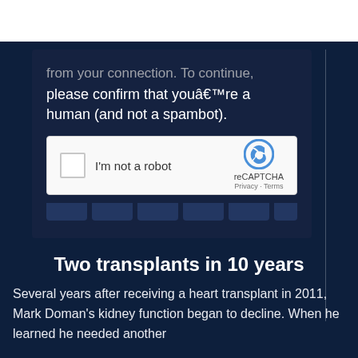from your connection. To continue, please confirm that youâ€™re a human (and not a spambot).
[Figure (screenshot): reCAPTCHA widget with checkbox labeled 'I'm not a robot' and Google reCAPTCHA logo with Privacy and Terms links]
Two transplants in 10 years
Several years after receiving a heart transplant in 2011, Mark Doman’s kidney function began to decline. When he learned he needed another